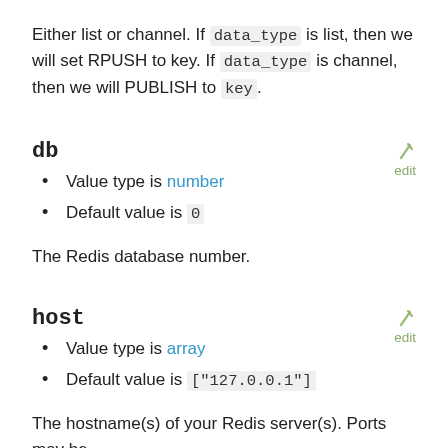Either list or channel. If data_type is list, then we will set RPUSH to key. If data_type is channel, then we will PUBLISH to key.
db
Value type is number
Default value is 0
The Redis database number.
host
Value type is array
Default value is ["127.0.0.1"]
The hostname(s) of your Redis server(s). Ports may be